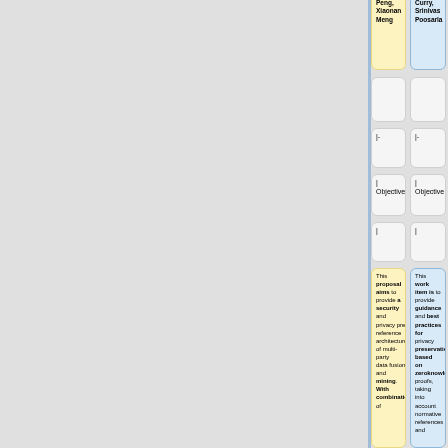| Column A | Column B |
| --- | --- |
| Peng, Xiaonan Meng | Curry, Srinivas Poosarla  |
|  |  |
| |- | |- |
| | Objective | | Objective |
| | | | |
| This proposal aims to provide a security and privacy preserving reference architecture of multi-party data fusion and mining. With combination of | This work item is to provide guidance and best practices for privacy preservation based on zeroknowledge proofs, taking into account normative references and |